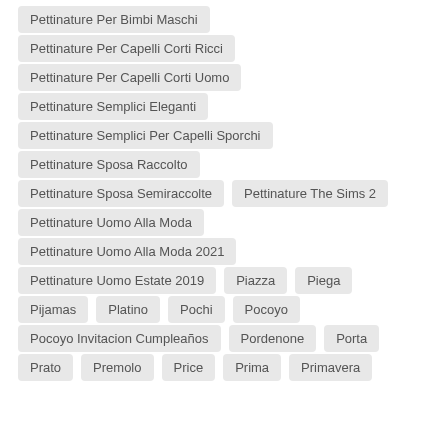Pettinature Per Bimbi Maschi
Pettinature Per Capelli Corti Ricci
Pettinature Per Capelli Corti Uomo
Pettinature Semplici Eleganti
Pettinature Semplici Per Capelli Sporchi
Pettinature Sposa Raccolto
Pettinature Sposa Semiraccolte
Pettinature The Sims 2
Pettinature Uomo Alla Moda
Pettinature Uomo Alla Moda 2021
Pettinature Uomo Estate 2019
Piazza
Piega
Pijamas
Platino
Pochi
Pocoyo
Pocoyo Invitacion Cumpleaños
Pordenone
Porta
Prato
Premolo
Price
Prima
Primavera